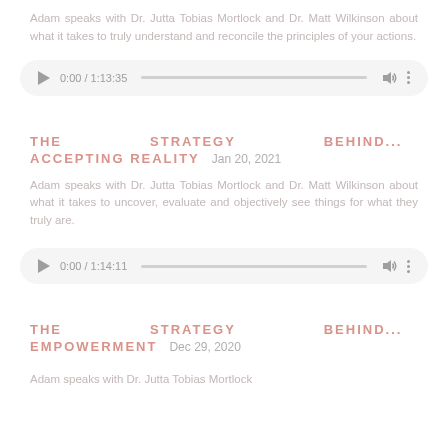Adam speaks with Dr. Jutta Tobias Mortlock and Dr. Matt Wilkinson about what it takes to truly understand and reconcile the principles of your actions.
[Figure (other): Audio player showing 0:00 / 1:13:35]
THE STRATEGY BEHIND... ACCEPTING REALITY  Jan 20, 2021
Adam speaks with Dr. Jutta Tobias Mortlock and Dr. Matt Wilkinson about what it takes to uncover, evaluate and objectively see things for what they truly are.
[Figure (other): Audio player showing 0:00 / 1:14:11]
THE STRATEGY BEHIND... EMPOWERMENT  Dec 29, 2020
Adam speaks with Dr. Jutta Tobias Mortlock